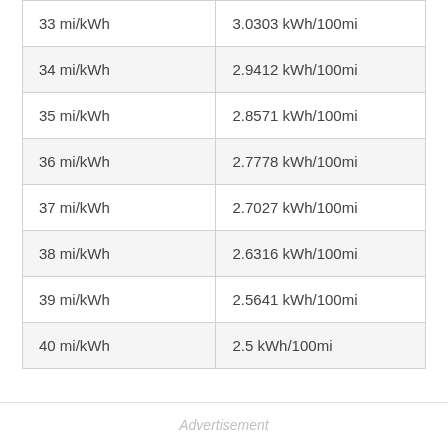| 33 mi/kWh | 3.0303 kWh/100mi |
| 34 mi/kWh | 2.9412 kWh/100mi |
| 35 mi/kWh | 2.8571 kWh/100mi |
| 36 mi/kWh | 2.7778 kWh/100mi |
| 37 mi/kWh | 2.7027 kWh/100mi |
| 38 mi/kWh | 2.6316 kWh/100mi |
| 39 mi/kWh | 2.5641 kWh/100mi |
| 40 mi/kWh | 2.5 kWh/100mi |
Advertisement